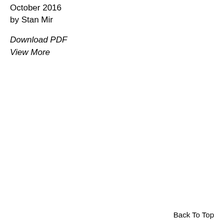October 2016
by Stan Mir
Download PDF
View More
Back To Top